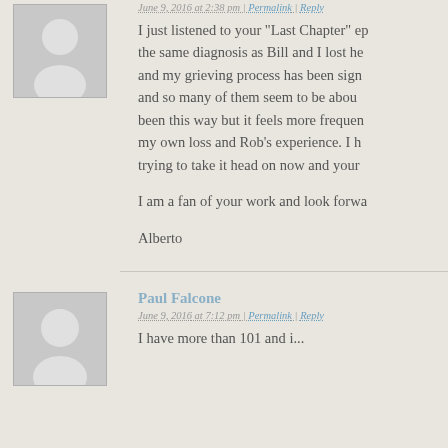[Figure (illustration): Generic grey avatar/user placeholder image - silhouette of a person on grey background]
June 9, 2016 at 2:38 pm | Permalink | Reply
I just listened to your “Last Chapter” ep... the same diagnosis as Bill and I lost he... and my grieving process has been sign... and so many of them seem to be abou... been this way but it feels more frequen... my own loss and Rob’s experience. I h... trying to take it head on now and your ...
I am a fan of your work and look forwa...
Alberto
[Figure (illustration): Generic grey avatar/user placeholder image - silhouette of a person on grey background]
Paul Falcone
June 9, 2016 at 7:12 pm | Permalink | Reply
I have more than 101 and i...